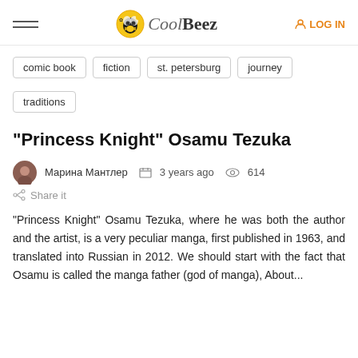CoolBeez — LOG IN
comic book
fiction
st. petersburg
journey
traditions
"Princess Knight" Osamu Tezuka
Марина Мантлер   3 years ago   614
Share it
“Princess Knight” Osamu Tezuka, where he was both the author and the artist, is a very peculiar manga, first published in 1963, and translated into Russian in 2012. We should start with the fact that Osamu is called the manga father (god of manga), About...